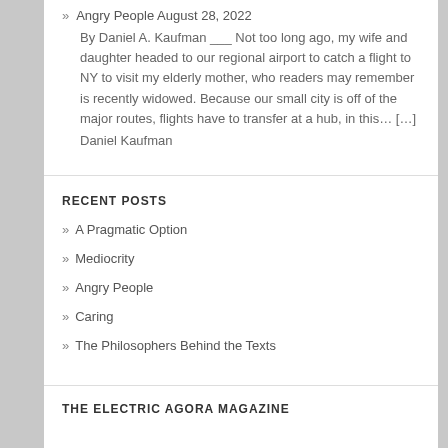» Angry People August 28, 2022
By Daniel A. Kaufman ___ Not too long ago, my wife and daughter headed to our regional airport to catch a flight to NY to visit my elderly mother, who readers may remember is recently widowed. Because our small city is off of the major routes, flights have to transfer at a hub, in this… […]
Daniel Kaufman
RECENT POSTS
» A Pragmatic Option
» Mediocrity
» Angry People
» Caring
» The Philosophers Behind the Texts
THE ELECTRIC AGORA MAGAZINE